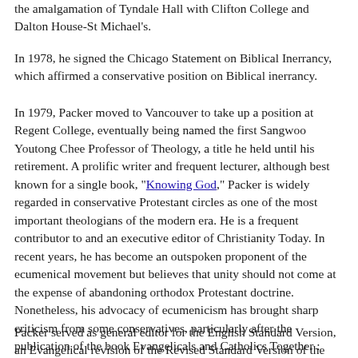the amalgamation of Tyndale Hall with Clifton College and Dalton House-St Michael's.
In 1978, he signed the Chicago Statement on Biblical Inerrancy, which affirmed a conservative position on Biblical inerrancy.
In 1979, Packer moved to Vancouver to take up a position at Regent College, eventually being named the first Sangwoo Youtong Chee Professor of Theology, a title he held until his retirement. A prolific writer and frequent lecturer, although best known for a single book, "Knowing God," Packer is widely regarded in conservative Protestant circles as one of the most important theologians of the modern era. He is a frequent contributor to and an executive editor of Christianity Today. In recent years, he has become an outspoken proponent of the ecumenical movement but believes that unity should not come at the expense of abandoning orthodox Protestant doctrine. Nonetheless, his advocacy of ecumenicism has brought sharp criticism from some conservatives, particularly after the publication of the book Evangelicals and Catholics Together : Toward a Common Mission (ed. Charles Colson, Richard J. Neuhaus) in which Packer was one of the contributors.
Packer served as general editor for the English Standard Version, an Evangelical revision of the Revised Standard Version of the